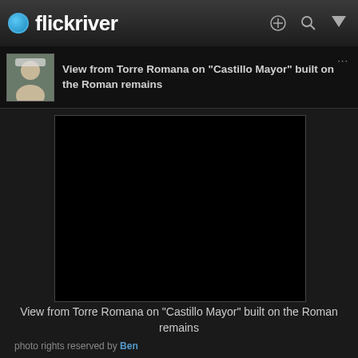flickriver
View from Torre Romana on "Castillo Mayor" built on the Roman remains
[Figure (photo): Black photograph area — View from Torre Romana on Castillo Mayor built on the Roman remains]
View from Torre Romana on "Castillo Mayor" built on the Roman remains
photo rights reserved by Ben